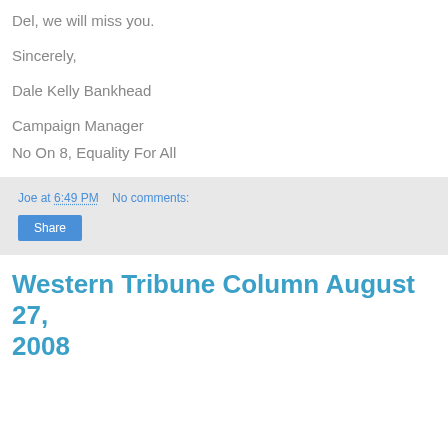Del, we will miss you.
Sincerely,
Dale Kelly Bankhead
Campaign Manager
No On 8, Equality For All
Joe at 6:49 PM    No comments:
Western Tribune Column August 27, 2008